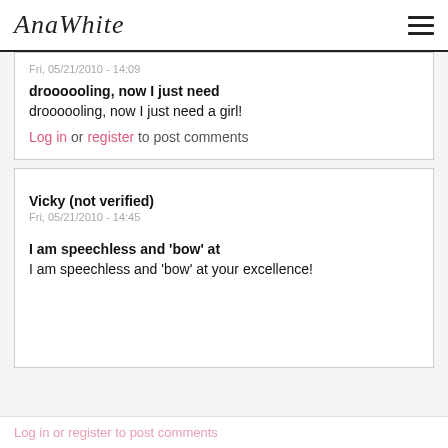AnaWhite
Fri, 05/21/2010 - 14:09
droooooling, now I just need
droooooling, now I just need a girl!
Log in or register to post comments
Vicky (not verified)
Fri, 05/21/2010 - 14:45
I am speechless and 'bow' at
I am speechless and 'bow' at your excellence!
Log in or register to post comments